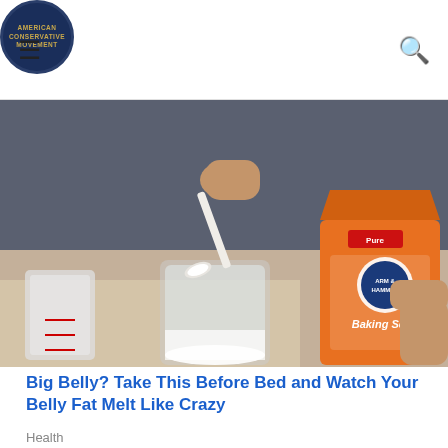AMERICAN CONSERVATIVE MOVEMENT (logo)
[Figure (photo): Person holding an Arm & Hammer Baking Soda box and using a spoon to add baking soda into a glass jar, with a measuring cup nearby on a table.]
Big Belly? Take This Before Bed and Watch Your Belly Fat Melt Like Crazy
Health
[Figure (photo): Partial view of food being cooked in a pan with water or liquid sizzling.]